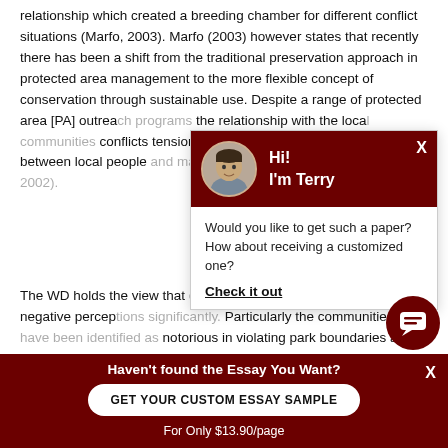relationship which created a breeding chamber for different conflict situations (Marfo, 2003). Marfo (2003) however states that recently there has been a shift from the traditional preservation approach in protected area management to the more flexible concept of conservation through sustainable use. Despite a range of protected area [PA] outrea... the relationship with the loca... conflicts tension still exists. T... tension between local people... from different parks (Newma...
[Figure (screenshot): Chat popup widget with a profile avatar of a man named Terry, dark red header with 'Hi! I'm Terry', body text asking 'Would you like to get such a paper? How about receiving a customized one?' with a 'Check it out' link.]
The WD holds the view that... change their negative percep... Particularly the communities... notorious in violating park boundaries and regulations. A...
[Figure (screenshot): Bottom dark red banner: Haven't found the Essay You Want? GET YOUR CUSTOM ESSAY SAMPLE button. For Only $13.90/page]